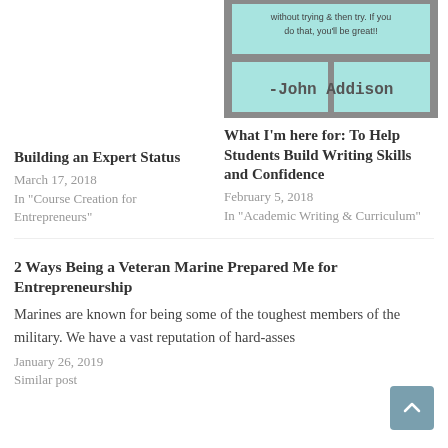[Figure (photo): Photo of John Addison quote on teal paper strips on metal surface: 'without trying & then try. If you do that, you'll be great!!' and '-John Addison']
Building an Expert Status
March 17, 2018
In "Course Creation for Entrepreneurs"
What I'm here for: To Help Students Build Writing Skills and Confidence
February 5, 2018
In "Academic Writing & Curriculum"
2 Ways Being a Veteran Marine Prepared Me for Entrepreneurship
Marines are known for being some of the toughest members of the military.  We have a vast reputation of hard-asses
January 26, 2019
Similar post